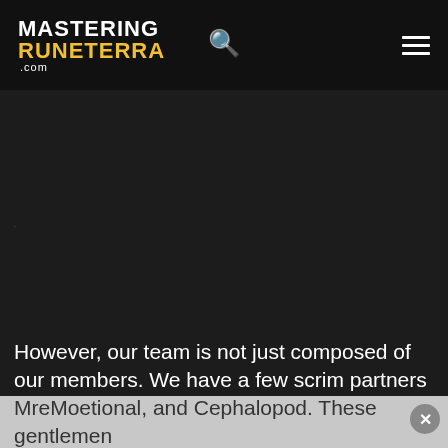MASTERING RUNETERRA .com
However, our team is not just composed of our members. We have a few scrim partners who are honorary wombats or 'wallabies' as we have affectionately named them. These are some players you may recognize like Drisoth, MreMoetional, and Cephalopod. These gentlemen